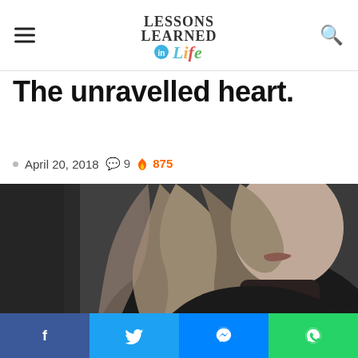Lessons Learned in Life
The unravelled heart.
April 20, 2018  💬 9  🔥 875
[Figure (photo): Black and white close-up photo of a young woman with long blonde hair, partial face visible showing lips and hair, dark moody background]
Facebook share | Twitter share | Messenger share | WhatsApp share